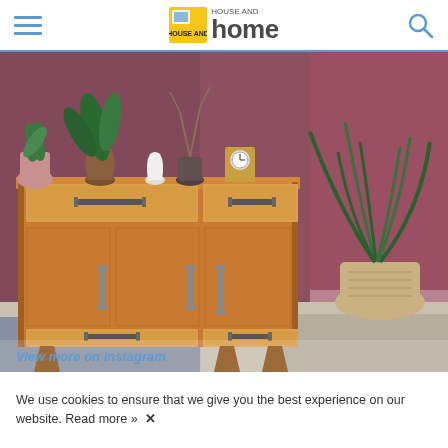House and Home - navigation bar with hamburger menu, logo, and search icon
[Figure (photo): Mid-century modern wooden sideboard/credenza with cork-textured drawer fronts and black metal handles, styled with houseplants, a clock, vases, and decorative objects on top. A tall plant in a woven basket sits to the right against a dark mauve/wine-colored wall. The floor has a patterned rug and grey tiles.]
View more on Instagram
We use cookies to ensure that we give you the best experience on our website. Read more »  ✕